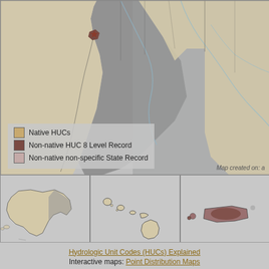[Figure (map): Map of western United States and Mexico showing Native HUCs (tan/beige), Non-native HUC 8 Level Record (dark brown/reddish), and Non-native non-specific State Record (light pinkish-gray). The map shows the southwestern US and Pacific coast with shaded regions representing non-native records over Mexico and Baja California.]
Native HUCs | Non-native HUC 8 Level Record | Non-native non-specific State Record
[Figure (map): Inset map of Alaska showing state outline in beige/tan with gray overlay on eastern portion.]
Alaska
[Figure (map): Inset map of Hawaii showing island chain outlines.]
Hawaii
[Figure (map): Inset map of Puerto Rico and US Virgin Islands showing non-native HUC 8 Level Record (dark brown) distribution.]
Puerto Rico Virgin Islands
Hydrologic Unit Codes (HUCs) Explained
Interactive maps: Point Distribution Maps